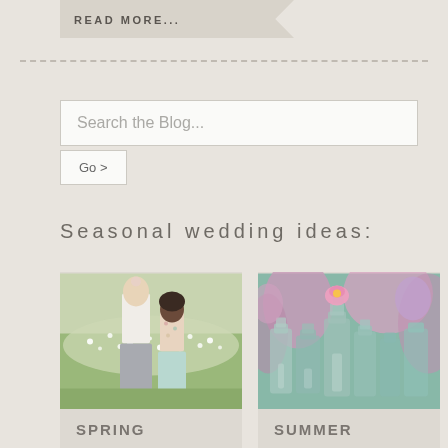READ MORE...
Search the Blog...
Go>
Seasonal wedding ideas:
[Figure (photo): Two women in a meadow with wildflowers, wearing floral hair accessories. One in white top and grey skirt, one in floral dress and blue skirt.]
SPRING
[Figure (photo): Pink and purple flowers in glass bottles/vases arranged together.]
SUMMER